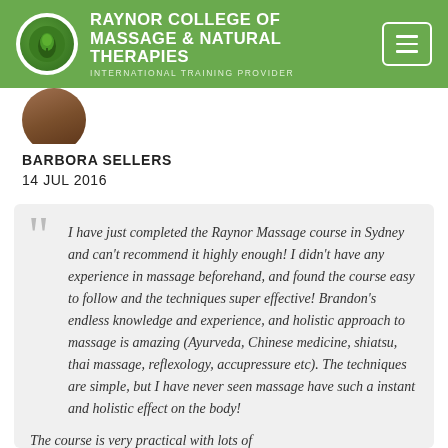RAYNOR COLLEGE OF MASSAGE & NATURAL THERAPIES INTERNATIONAL TRAINING PROVIDER
[Figure (photo): Partial profile photo of Barbora Sellers]
BARBORA SELLERS
14 JUL 2016
I have just completed the Raynor Massage course in Sydney and can't recommend it highly enough! I didn't have any experience in massage beforehand, and found the course easy to follow and the techniques super effective! Brandon's endless knowledge and experience, and holistic approach to massage is amazing (Ayurveda, Chinese medicine, shiatsu, thai massage, reflexology, accupressure etc). The techniques are simple, but I have never seen massage have such a instant and holistic effect on the body!

The course is very practical with lots of